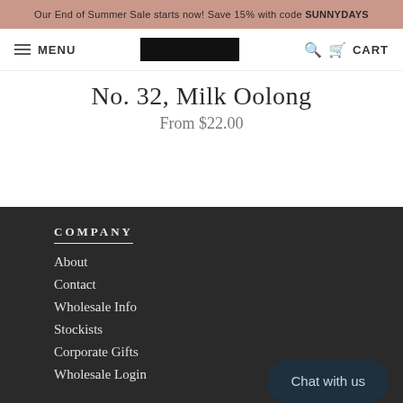Our End of Summer Sale starts now! Save 15% with code SUNNYDAYS
MENU | [logo] | CART
No. 32, Milk Oolong
From $22.00
COMPANY
About
Contact
Wholesale Info
Stockists
Corporate Gifts
Wholesale Login
Chat with us